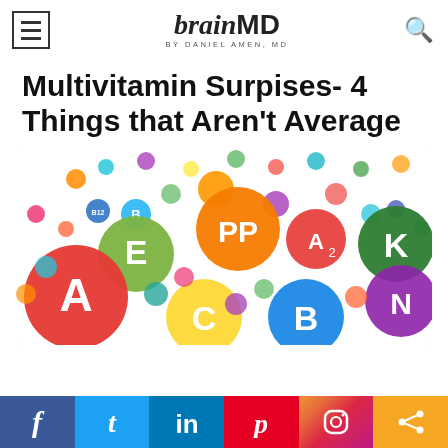brainMD by Daniel Amen, MD
Multivitamin Surpises- 4 Things that Aren't Average
[Figure (photo): Colorful vitamin pill capsules with letters A, B, C, E, K, PP printed on them, scattered on white background]
Social share bar: Facebook, Twitter, LinkedIn, Pinterest, Instagram, Share